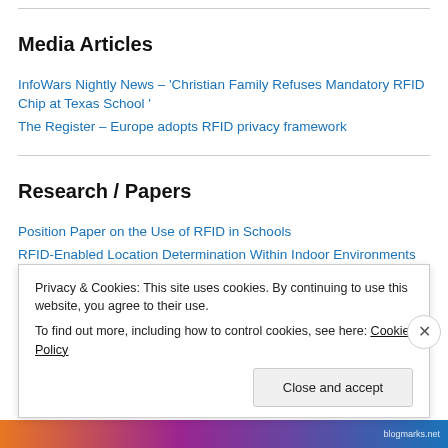Media Articles
InfoWars Nightly News – 'Christian Family Refuses Mandatory RFID Chip at Texas School '
The Register – Europe adopts RFID privacy framework
Research / Papers
Position Paper on the Use of RFID in Schools
RFID-Enabled Location Determination Within Indoor Environments
Privacy & Cookies: This site uses cookies. By continuing to use this website, you agree to their use.
To find out more, including how to control cookies, see here: Cookie Policy
Close and accept